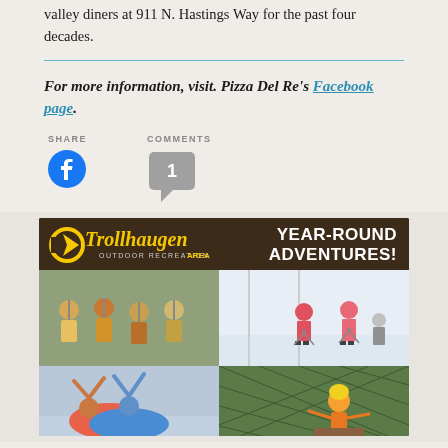valley diners at 911 N. Hastings Way for the past four decades.
For more information, visit. Pizza Del Re's Facebook page.
SHARE
COMMENTS
[Figure (other): Trollhaugen Outdoor Recreation Area advertisement showing 'Year-Round Adventures!' with four photos of outdoor activities including zip-lining, skiing, tubing, and ropes course.]